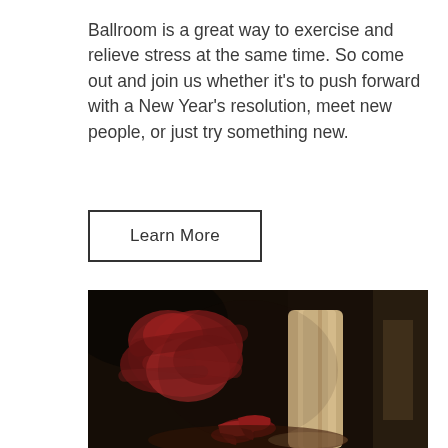Ballroom is a great way to exercise and relieve stress at the same time. So come out and join us whether it's to push forward with a New Year's resolution, meet new people, or just try something new.
Learn More
[Figure (photo): Close-up motion-blurred photo of ballroom dancers' feet and legs, showing red high-heeled shoes and tan trousers on a dark dance floor.]